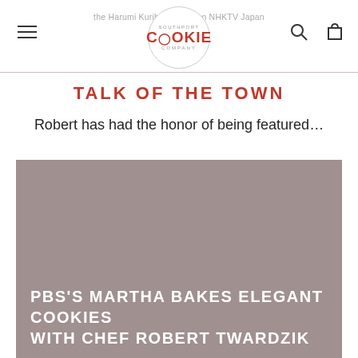the Harumi Kurihara show on NHKTV Japan
[Figure (logo): Southport Cookie Company circular logo with red COOKIE text in center]
TALK OF THE TOWN
Robert has had the honor of being featured...
[Figure (photo): Gray/taupe photo background with white bold text overlay reading PBS'S MARTHA BAKES ELEGANT COOKIES WITH CHEF ROBERT TWARDZIK]
PBS'S MARTHA BAKES ELEGANT COOKIES WITH CHEF ROBERT TWARDZIK